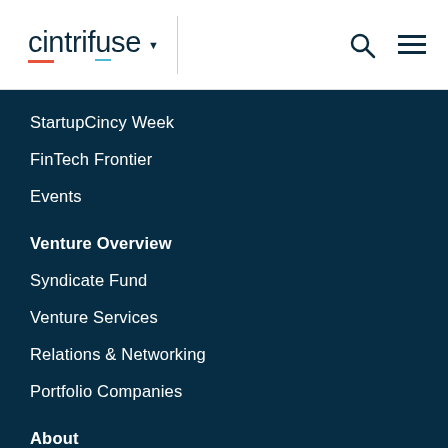cintrifuse
StartupCincy Week
FinTech Frontier
Events
Venture Overview
Syndicate Fund
Venture Services
Relations & Networking
Portfolio Companies
About
Team
Blog